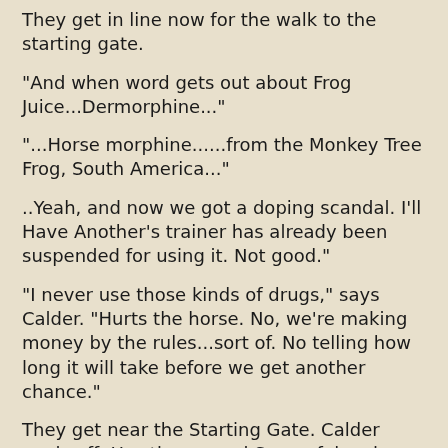They get in line now for the walk to the starting gate.
"And when word gets out about Frog Juice...Dermorphine..."
"...Horse morphine......from the Monkey Tree Frog, South America..."
..Yeah, and now we got a doping scandal.  I'll Have Another's trainer has already been suspended for using it.  Not good."
"I never use those kinds of drugs," says Calder.  "Hurts the horse.  No, we're making money by the rules...sort of.  No telling how long it will take before we get another chance."
They get near the Starting Gate.  Calder peels off.  Hawthorne and Sorrowful go in.  The flag is up.  And, They're Off.
One minute, twelve and four fifths seconds later...
Again the loudspeaker.  "Ladies and Gentlemen.  I direct you